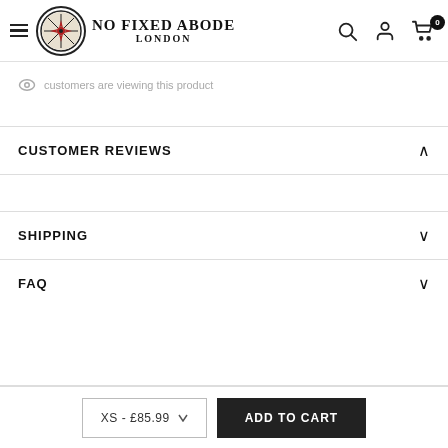NO FIXED ABODE LONDON - Navigation header with logo, search, account, and cart icons
customers are viewing this product
CUSTOMER REVIEWS
SHIPPING
FAQ
XS - £85.99 | ADD TO CART